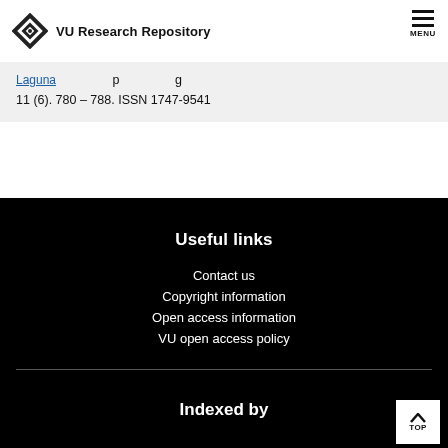VU Research Repository
11 (6). 780 - 788. ISSN 1747-9541
Useful links
Contact us
Copyright information
Open access information
VU open access policy
Indexed by